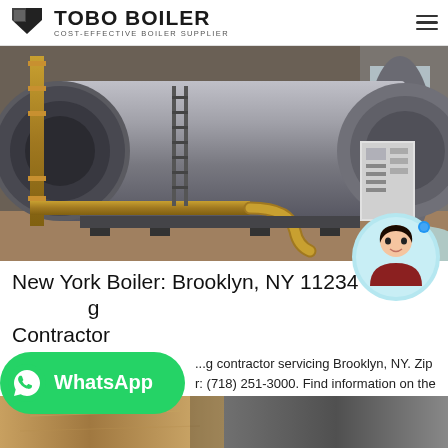TOBO BOILER — COST-EFFECTIVE BOILER SUPPLIER
[Figure (photo): Industrial boiler — large cylindrical metal pressure vessel in a factory/warehouse setting with orange piping, black pipe connections, and a white control panel unit on the right]
New York Boiler: Brooklyn, NY 11234 Boiling Contractor
...g contractor servicing Brooklyn, NY. Zip r: (718) 251-3000. Find information on the offered services and products. Reviews and ratings.
[Figure (photo): Bottom strip showing two partial thumbnail images]
[Figure (logo): WhatsApp button overlay — green rounded button with WhatsApp icon and text 'WhatsApp']
[Figure (photo): Chat support avatar — woman with dark hair in a circular light blue bubble, with a blue online indicator dot]